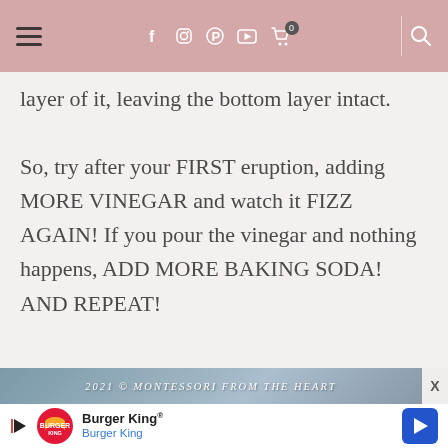Navigation bar with hamburger menu, social icons (Facebook, Instagram, Pinterest, YouTube), cart (0), and search
layer of it, leaving the bottom layer intact.

So, try after your FIRST eruption, adding MORE VINEGAR and watch it FIZZ AGAIN! If you pour the vinegar and nothing happens, ADD MORE BAKING SODA! AND REPEAT!
2021 © Montessori From The Heart
[Figure (other): Burger King advertisement banner with logo, brand name 'Burger King®', and navigation arrow icon]